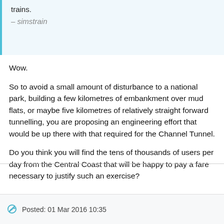trains.
— simstrain
Wow.
So to avoid a small amount of disturbance to a national park, building a few kilometres of embankment over mud flats, or maybe five kilometres of relatively straight forward tunnelling, you are proposing an engineering effort that would be up there with that required for the Channel Tunnel.
Do you think you will find the tens of thousands of users per day from the Central Coast that will be happy to pay a fare necessary to justify such an exercise?
Posted: 01 Mar 2016 10:35